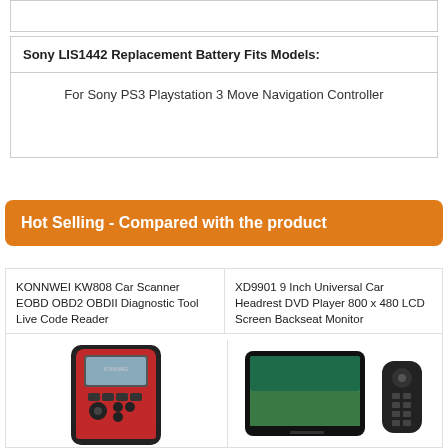| Sony LIS1442 Replacement Battery Fits Models: |
| --- |
| For Sony PS3 Playstation 3 Move Navigation Controller |
Hot Selling - Compared with the product
KONNWEI KW808 Car Scanner EOBD OBD2 OBDII Diagnostic Tool Live Code Reader
XD9901 9 Inch Universal Car Headrest DVD Player 800 x 480 LCD Screen Backseat Monitor
[Figure (photo): KONNWEI KW808 red and black car scanner/diagnostic tool]
[Figure (photo): XD9901 9 Inch headrest DVD player with screen showing landscape, and remote control]